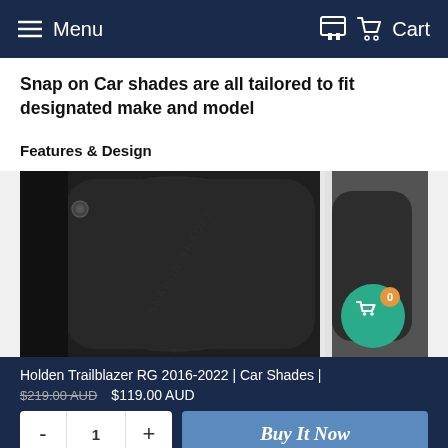Menu  Cart
Snap on Car shades are all tailored to fit designated make and model
Features & Design
[Figure (photo): Close-up photo of black car window shades/sun shades showing their mesh/fabric texture and curved form, two shades visible side by side]
Holden Trailblazer RG 2016-2022 | Car Shades |
$219.00 AUD  $119.00 AUD
- 1 +  Buy It Now